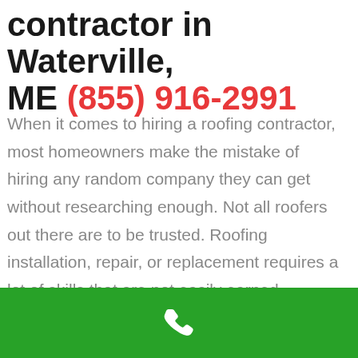contractor in Waterville, ME (855) 916-2991
When it comes to hiring a roofing contractor, most homeowners make the mistake of hiring any random company they can get without researching enough. Not all roofers out there are to be trusted. Roofing installation, repair, or replacement requires a lot of skills that are not easily earned. Therefore, hiring any roofing contractor you can find is not the smartest idea at all. Qualified and professional roofers suggest that you always seek the most popular, reputable, and experienced roofing contractor that can guarantee
[Figure (other): Green call-to-action bar with white phone handset icon]